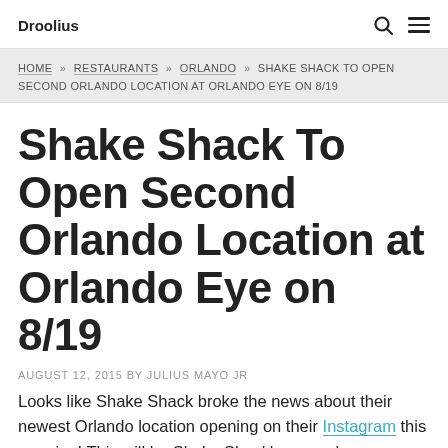Droolius
HOME » RESTAURANTS » ORLANDO » SHAKE SHACK TO OPEN SECOND ORLANDO LOCATION AT ORLANDO EYE ON 8/19
Shake Shack To Open Second Orlando Location at Orlando Eye on 8/19
AUGUST 12, 2015 BY JULIUS MAYO JR
Looks like Shake Shack broke the news about their newest Orlando location opening on their Instagram this morning! This will be Shake Shack's second